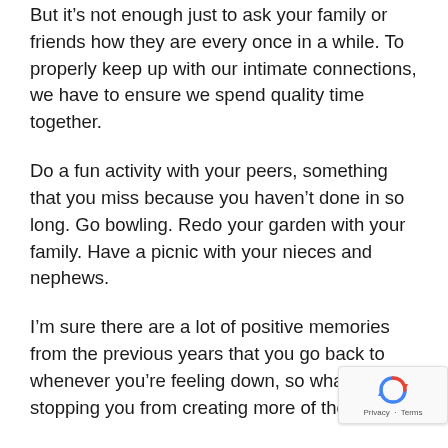But it’s not enough just to ask your family or friends how they are every once in a while. To properly keep up with our intimate connections, we have to ensure we spend quality time together.
Do a fun activity with your peers, something that you miss because you haven’t done in so long. Go bowling. Redo your garden with your family. Have a picnic with your nieces and nephews.
I’m sure there are a lot of positive memories from the previous years that you go back to whenever you’re feeling down, so what’s stopping you from creating more of those?
Bond with your loved ones, help each other make fantastic memories, and I don’t know, take some